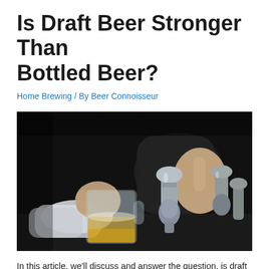Is Draft Beer Stronger Than Bottled Beer?
Home Brewing / By Beer Connoisseur
[Figure (photo): Close-up photo of a bartender's hands filling a glass mug from a chrome beer tap in a dark bar setting. The tap handle is being gripped firmly and beer is flowing into a glass stein. Additional chrome tap handles are visible on the right side.]
In this article, we'll discuss and answer the question, is draft beer